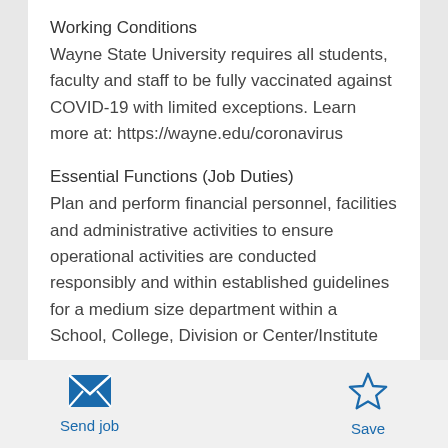Working Conditions
Wayne State University requires all students, faculty and staff to be fully vaccinated against COVID-19 with limited exceptions. Learn more at: https://wayne.edu/coronavirus
Essential Functions (Job Duties)
Plan and perform financial personnel, facilities and administrative activities to ensure operational activities are conducted responsibly and within established guidelines for a medium size department within a School, College, Division or Center/Institute
[Figure (illustration): Envelope icon for Send job button]
Send job
[Figure (illustration): Star icon for Save button]
Save